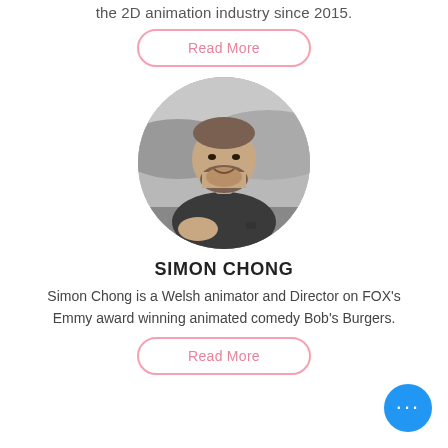the 2D animation industry since 2015.
Read More
[Figure (photo): Circular black and white photo of Simon Chong, a bearded man smiling, seated outdoors with hills in background.]
SIMON CHONG
Simon Chong is a Welsh animator and Director on FOX's Emmy award winning animated comedy Bob's Burgers.
Read More